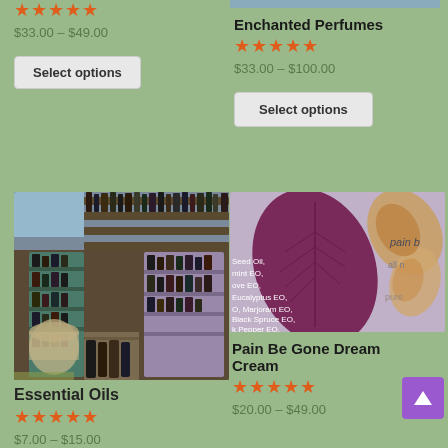[Figure (photo): Top-left: partial product listing with star rating and price, cut off at top]
$33.00 – $49.00
Select options
[Figure (photo): Top-right: partial photo of two people, cut off at top]
Enchanted Perfumes
$33.00 – $100.00
Select options
[Figure (photo): Photo of a shop interior with shelves full of dark glass bottles and jars of essential oils]
Essential Oils
[Figure (photo): Pain Be Gone Dream Cream product label image with purple leaf and butterfly, ingredient list overlay]
Pain Be Gone Dream Cream
$20.00 – $49.00